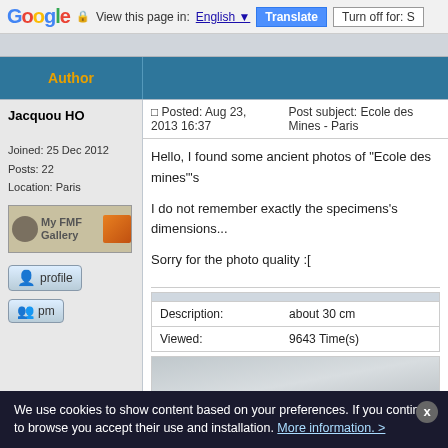Google  View this page in: English  Translate  Turn off for: S
Author
Jacquou HO
Joined: 25 Dec 2012
Posts: 22
Location: Paris
[Figure (screenshot): My FMF Gallery button with gem icon]
[Figure (screenshot): profile button]
[Figure (screenshot): pm button]
Posted: Aug 23, 2013 16:37    Post subject: Ecole des Mines - Paris
Hello, I found some ancient photos of "Ecole des mines"'s
I do not remember exactly the specimens's dimensions...
Sorry for the photo quality :[
| Description: | about 30 cm |
| Viewed: | 9643 Time(s) |
[Figure (photo): Partial photo preview, gray/blue blurred background]
We use cookies to show content based on your preferences. If you continue to browse you accept their use and installation. More information. >